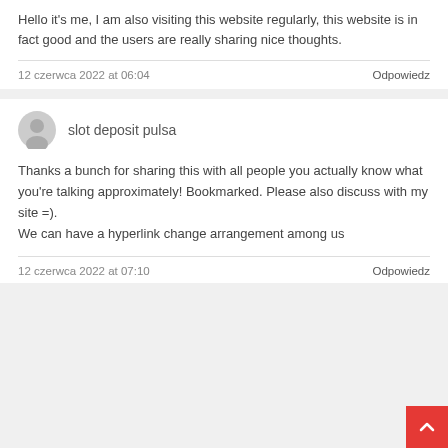Hello it's me, I am also visiting this website regularly, this website is in fact good and the users are really sharing nice thoughts.
12 czerwca 2022 at 06:04
Odpowiedz
slot deposit pulsa
Thanks a bunch for sharing this with all people you actually know what you're talking approximately! Bookmarked. Please also discuss with my site =).
We can have a hyperlink change arrangement among us
12 czerwca 2022 at 07:10
Odpowiedz